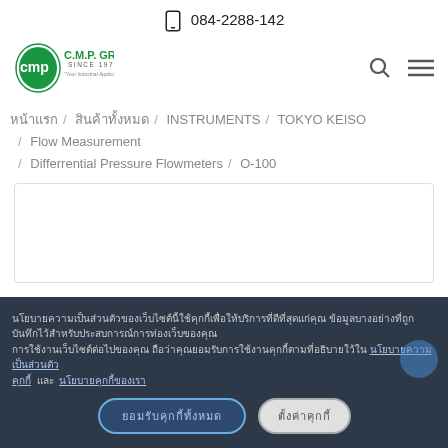084-2288-142
[Figure (logo): CMP Group logo – green circular emblem with 'cmp' text, company name C.M.P. GROUP, SINCE 1975, tagline Your Industrial Applications Partner]
หน้าแรก / สินค้าทั้งหมด / INSTRUMENTS / TOKYO KEISO / Flow Measurement / Differrential Pressure Flowmeters / O-100
[Figure (photo): Product image area – white box with border, product not fully visible]
Cookie consent notice in Thai text with links, and two buttons: ยอมรับคุกกี้ทั้งหมด and ตั้งค่าคุกกี้